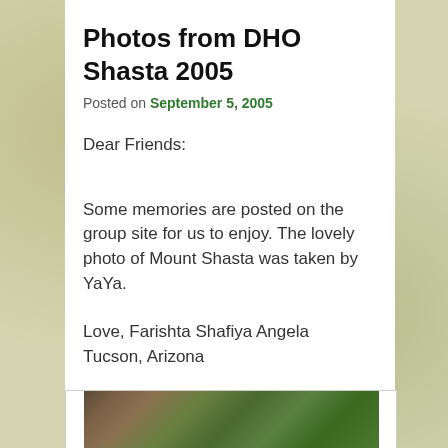Photos from DHO Shasta 2005
Posted on September 5, 2005
Dear Friends:
Some memories are posted on the group site for us to enjoy. The lovely photo of Mount Shasta was taken by YaYa.
Love, Farishta Shafiya Angela
Tucson, Arizona
[Figure (photo): Partial view of a nature photo showing trees and green foliage, appearing to be Mount Shasta area]